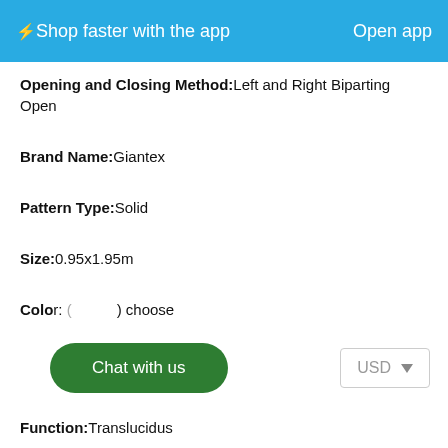⚡ Shop faster with the app   Open app
Opening and Closing Method: Left and Right Biparting Open
Brand Name: Giantex
Pattern Type: Solid
Size: 0.95x1.95m
Color: (some options) choose
Function: Translucidus